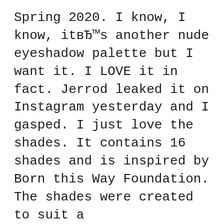Spring 2020. I know, I know, it's another nude eyeshadow palette but I want it. I LOVE it in fact. Jerrod leaked it on Instagram yesterday and I gasped. I just love the shades. It contains 16 shades and is inspired by Born this Way Foundation. The shades were created to suit a
The Face Shop Natural Sun Eco Super White Sun Cream SPF 50+ PA +++ Review. It gives high SPF protection, brightens the face and most importantly, doesn't clog my pores or make my skin oily. To my surprise, Tarte's latest limited edition eyeshadow palette is rather inexpensive and a whole lot of beautiful. The Tarte